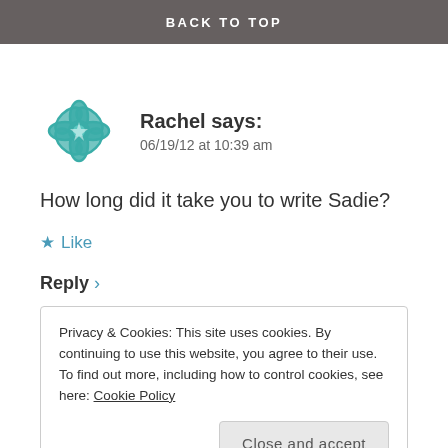BACK TO TOP
[Figure (logo): Teal geometric mandala/flower pattern avatar icon for user Rachel]
Rachel says:
06/19/12 at 10:39 am
How long did it take you to write Sadie?
★ Like
Reply ›
Privacy & Cookies: This site uses cookies. By continuing to use this website, you agree to their use.
To find out more, including how to control cookies, see here: Cookie Policy
Close and accept
draft was extremely ROUGH. Like choke on your